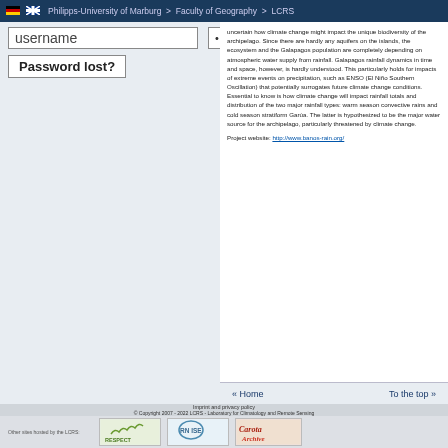Philipps-University of Marburg > Faculty of Geography > LCRS
username
••••••••
Login
Password lost?
uncertain how climate change might impact the unique biodiversity of the archipelago. Since there are hardly any aquifers on the islands, the ecosystem and the Galapagos population are completely depending on atmospheric water supply from rainfall. Galapagos rainfall dynamics in time and space, however, is hardly understood. This particularly holds for impacts of extreme events on precipitation, such as ENSO (El Niño Southern Oscillation) that potentially surrogates future climate change conditions. Essential to know is how climate change will impact rainfall totals and distribution of the two major rainfall types: warm season convective rains and cold season stratiform Garúa. The latter is hypothesized to be the major water source for the archipelago, particularly threatened by climate change.
Project website: http://www.banos-rain.org/
« Home
To the top »
Imprint and privacy policy
© Copyright 2007 - 2022 LCRS - Laboratory for Climatology and Remote Sensing
[Figure (logo): RESPECT logo - green leaf design]
[Figure (logo): RN ISE logo - blue heart/cloud design]
[Figure (logo): Carota Archive logo - red stylized text]